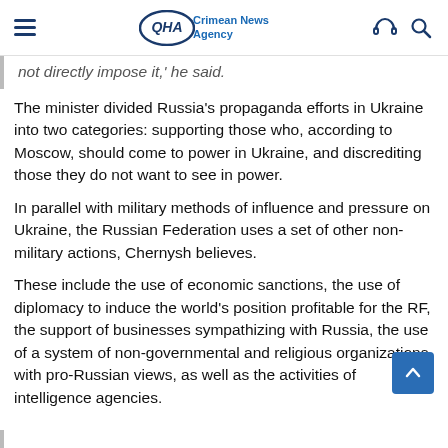QHA Crimean News Agency
not directly impose it,' he said.
The minister divided Russia's propaganda efforts in Ukraine into two categories: supporting those who, according to Moscow, should come to power in Ukraine, and discrediting those they do not want to see in power.
In parallel with military methods of influence and pressure on Ukraine, the Russian Federation uses a set of other non-military actions, Chernysh believes.
These include the use of economic sanctions, the use of diplomacy to induce the world's position profitable for the RF, the support of businesses sympathizing with Russia, the use of a system of non-governmental and religious organizations with pro-Russian views, as well as the activities of intelligence agencies.